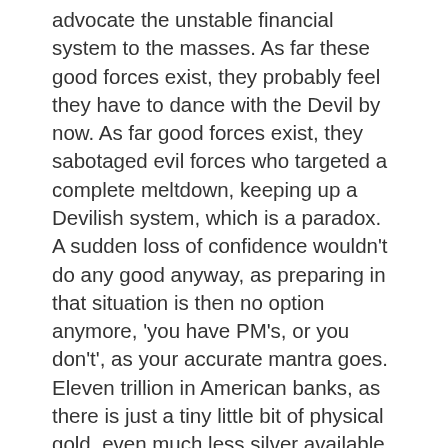advocate the unstable financial system to the masses. As far these good forces exist, they probably feel they have to dance with the Devil by now. As far good forces exist, they sabotaged evil forces who targeted a complete meltdown, keeping up a Devilish system, which is a paradox. A sudden loss of confidence wouldn't do any good anyway, as preparing in that situation is then no option anymore, 'you have PM's, or you don't', as your accurate mantra goes. Eleven trillion in American banks, as there is just a tiny little bit of physical gold, even much less silver available on the American retail market. Would there be one billion worth of PM's in the American retail market? 11.000 billion of savings looking for hard assets…………well that's an obvious one. 'The longer the can gets kicked down the road, the more the piper has to be paid', he said. I don't get that one, a sudden collapse and everything is erased, so delaying that gives time on all levels to prepare, the price down the kicked can road would be the same, a crash of the currencies, slowly or gradual. Holding on to currency, or paper assets is an equivalent of being crazy. I might be crazy on some other fronts, but that doesn't endanger my financial resources. Knowledge empowers, ignorance endangers. May the view of the founding fathers of America go viral one day. Expect the unexpected. May Love be